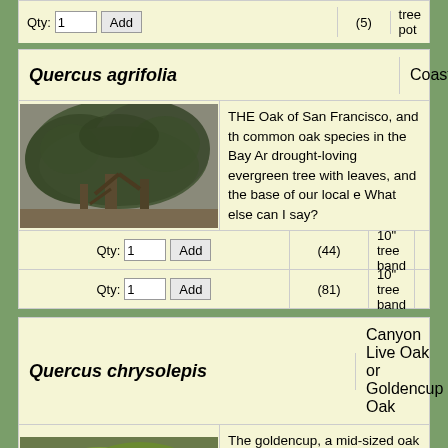| Qty | Stock | Description | Price |
| --- | --- | --- | --- |
| Qty: 1 [Add] | (5) | tree pot |  |
| Species | Common Name | Region |
| --- | --- | --- |
| Quercus agrifolia | Coast live oak | Sa Fra |
| [image] THE Oak of San Francisco, and the common oak species in the Bay Ar drought-loving evergreen tree with leaves, and the base of our local e What else can I say? |  |  |
| Qty: 1 [Add] | (44) | 10" tree band |  |
| Qty: 1 [Add] | (81) | 10" tree band |  |
| Species | Common Name |
| --- | --- |
| Quercus chrysolepis | Canyon Live Oak or Goldencup Oak |
| [image] The goldencup, a mid-sized oak us than 50 feet tall, has gorgeous lea underneath with gold, and nice fat nestled in wooly bowl-shaped caps |  |